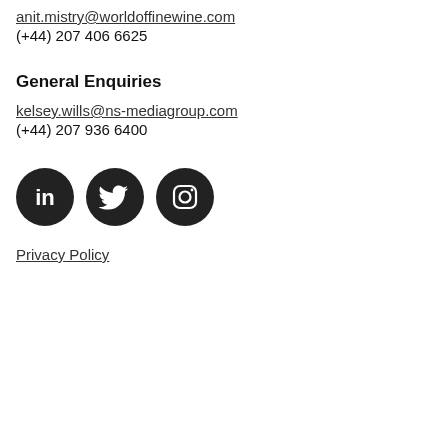anit.mistry@worldoffinewine.com
(+44) 207 406 6625
General Enquiries
kelsey.wills@ns-mediagroup.com
(+44) 207 936 6400
[Figure (illustration): Three dark circular social media icons: LinkedIn, Twitter, Instagram]
Privacy Policy